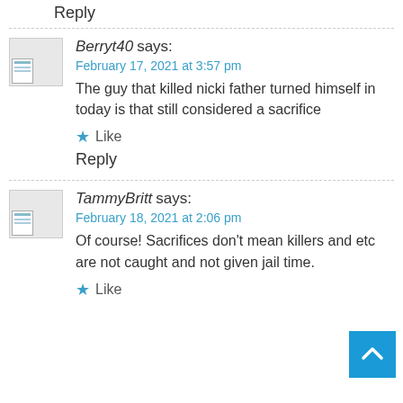Reply
Berryt40 says:
February 17, 2021 at 3:57 pm
The guy that killed nicki father turned himself in today is that still considered a sacrifice
Like
Reply
TammyBritt says:
February 18, 2021 at 2:06 pm
Of course! Sacrifices don’t mean killers and etc are not caught and not given jail time.
Like